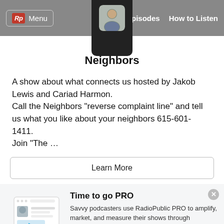Rp Menu | [podcast thumbnail] | Episodes | How to Listen
[Figure (photo): Podcast thumbnail image showing a person's face, displayed in the navigation bar center panel with dark background]
Neighbors
A show about what connects us hosted by Jakob Lewis and Cariad Harmon. Call the Neighbors “reverse complaint line” and tell us what you like about your neighbors 615-601-1411. Join “The …
Learn More
[Figure (illustration): RadioPublic PRO promotional illustration showing a stylized screenshot/embed with a person thumbnail and play button, with blue decorative shapes]
Time to go PRO
Savvy podcasters use RadioPublic PRO to amplify, market, and measure their shows through enhanced embeds, smart sharing, and calls to action that convert.
Get started